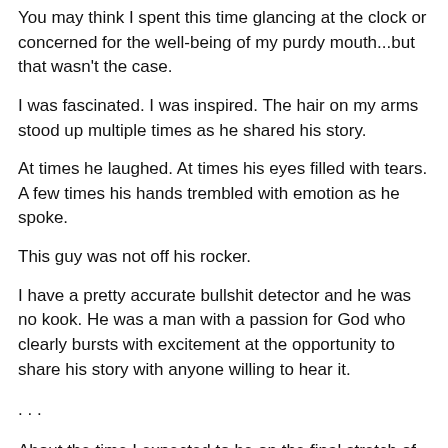You may think I spent this time glancing at the clock or concerned for the well-being of my purdy mouth...but that wasn't the case.
I was fascinated. I was inspired. The hair on my arms stood up multiple times as he shared his story.
At times he laughed. At times his eyes filled with tears. A few times his hands trembled with emotion as he spoke.
This guy was not off his rocker.
I have a pretty accurate bullshit detector and he was no kook. He was a man with a passion for God who clearly bursts with excitement at the opportunity to share his story with anyone willing to hear it.
. . .
About the time I expected to be on the final stretch of my drive home, we headed outside to load my coolers. I paid the rancher and thanked him for sharing his story with me.